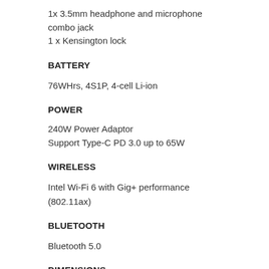1x 3.5mm headphone and microphone combo jack
1 x Kensington lock
BATTERY
76WHrs, 4S1P, 4-cell Li-ion
POWER
240W Power Adaptor
Support Type-C PD 3.0 up to 65W
WIRELESS
Intel Wi-Fi 6 with Gig+ performance (802.11ax)
BLUETOOTH
Bluetooth 5.0
DIMENSIONS